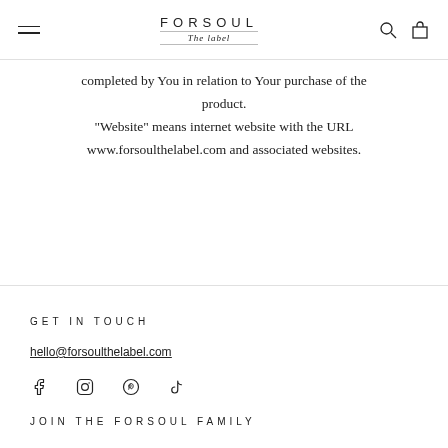FORSOUL The label
completed by You in relation to Your purchase of the product. "Website" means internet website with the URL www.forsoulthelabel.com and associated websites.
GET IN TOUCH
hello@forsoulthelabel.com
[Figure (other): Social media icons: Facebook, Instagram, Pinterest, TikTok]
JOIN THE FORSOUL FAMILY